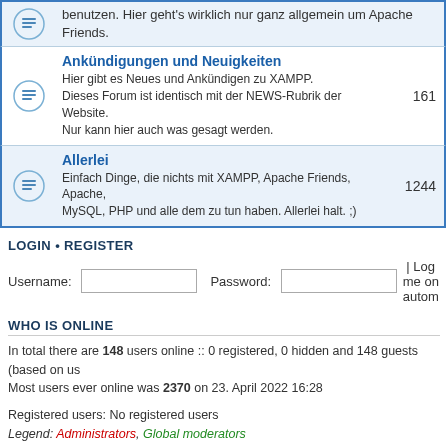benutzen. Hier geht's wirklich nur ganz allgemein um Apache Friends.
Ankündigungen und Neuigkeiten
Hier gibt es Neues und Ankündigen zu XAMPP. Dieses Forum ist identisch mit der NEWS-Rubrik der Website. Nur kann hier auch was gesagt werden. 161
Allerlei
Einfach Dinge, die nichts mit XAMPP, Apache Friends, Apache, MySQL, PHP und alle dem zu tun haben. Allerlei halt. ;) 1244
LOGIN • REGISTER
Username: [input] Password: [input] | Log me on autom
WHO IS ONLINE
In total there are 148 users online :: 0 registered, 0 hidden and 148 guests (based on us
Most users ever online was 2370 on 23. April 2022 16:28
Registered users: No registered users
Legend: Administrators, Global moderators
STATISTICS
Total posts 232050 • Total topics 56571 • Total members 106587 • Our newest member n
Board index   The team • Delete all
Powered by Bitnami phpBB
Privacy Policy